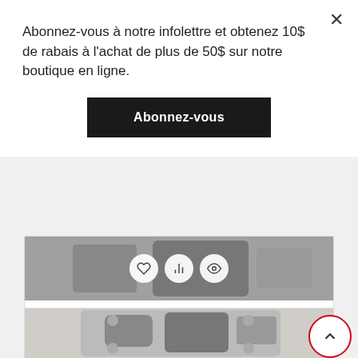Abonnez-vous à notre infolettre et obtenez 10$ de rabais à l'achat de plus de 50$ sur notre boutique en ligne.
×
Abonnez-vous
[Figure (photo): Partial view of a gray metallic motorcycle cylinder engine part with three circular action icon buttons overlaid (heart, bar chart, eye)]
Cylinder 500cc CF-MOTO 87mm
$299.99
[Figure (photo): Bottom portion of a motorcycle cylinder head engine part shown in black and white, partially visible at the bottom of the page]